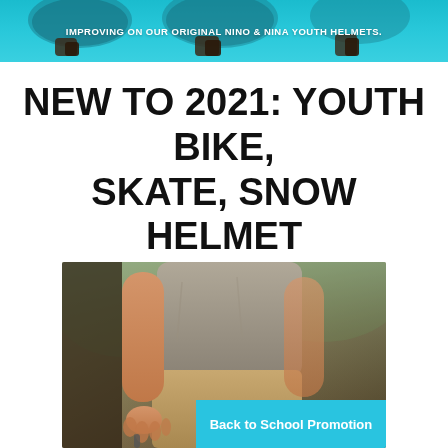[Figure (photo): Top banner with teal/cyan background showing youth helmets hanging, with white bold text overlay reading 'IMPROVING ON OUR ORIGINAL NINO & NINA YOUTH HELMETS.']
NEW TO 2021: YOUTH BIKE, SKATE, SNOW HELMET
[Figure (photo): Photo of a child wearing a gray t-shirt and tan shorts, viewed from torso/arm level, with a cyan 'Back to School Promotion' badge overlaid in the bottom right corner of the image.]
Back to School Promotion